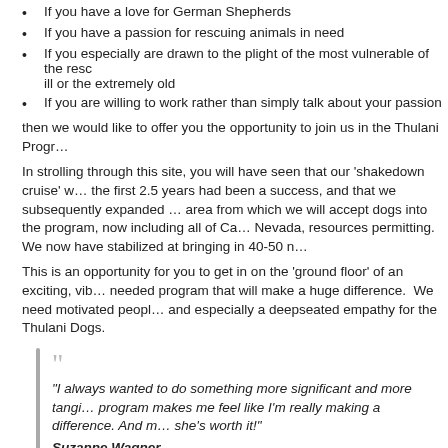If you have a love for German Shepherds
If you have a passion for rescuing animals in need
If you especially are drawn to the plight of the most vulnerable of the resc… ill or the extremely old
If you are willing to work rather than simply talk about your passion
then we would like to offer you the opportunity to join us in the Thulani Progr…
In strolling through this site, you will have seen that our 'shakedown cruise' w… the first 2.5 years had been a success, and that we subsequently expanded … area from which we will accept dogs into the program, now including all of Ca… Nevada, resources permitting.  We now have stabilized at bringing in 40-50 n…
This is an opportunity for you to get in on the 'ground floor' of an exciting, vib… needed program that will make a huge difference.  We need motivated peopl… and especially a deepseated empathy for the Thulani Dogs.
“I always wanted to do something more significant and more tangi… program makes me feel like I’m really making a difference. And m… she’s worth it!”
Suzanne Wagner
Please see the pages below (Foster, Help Out) for some of the ways that yo…